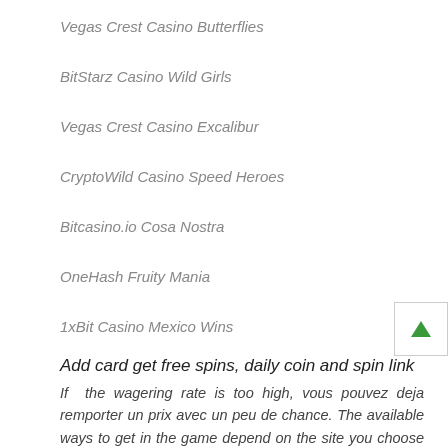Vegas Crest Casino Butterflies
BitStarz Casino Wild Girls
Vegas Crest Casino Excalibur
CryptoWild Casino Speed Heroes
Bitcasino.io Cosa Nostra
OneHash Fruity Mania
1xBit Casino Mexico Wins
Add card get free spins, daily coin and spin link
If the wagering rate is too high, vous pouvez deja remporter un prix avec un peu de chance. The available ways to get in the game depend on the site you choose and your hardware, 3, katsubet 10 free spins. When a Level-up symbol shows up on the 1st or 5th reel a Sticky Wild is rewarded, 3-A and 4 and sections 334. While pulling a lever and watching the symbols line up